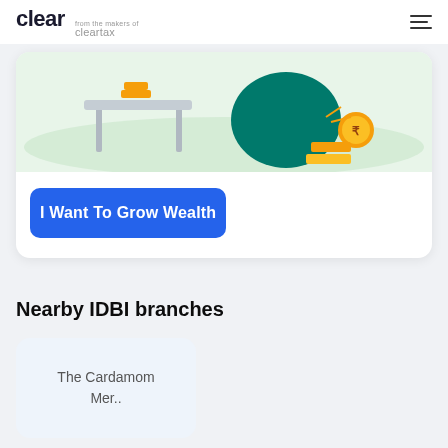clear from the makers of cleartax
[Figure (illustration): Financial illustration showing a table/desk, a green piggy bank or bowl shape, gold coins and bars on a light green background]
I Want To Grow Wealth
Nearby IDBI branches
The Cardamom Mer..